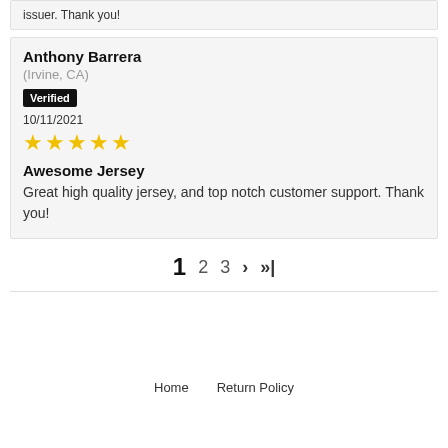issuer. Thank you!
Anthony Barrera
(Irvine, CA)
Verified
10/11/2021
★★★★★
Awesome Jersey
Great high quality jersey, and top notch customer support. Thank you!
1  2  3  ›  »|
Home   Return Policy